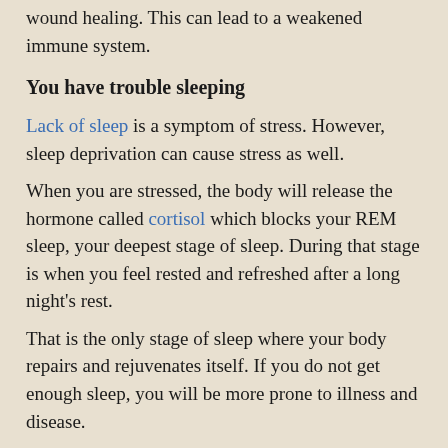wound healing. This can lead to a weakened immune system.
You have trouble sleeping
Lack of sleep is a symptom of stress. However, sleep deprivation can cause stress as well.
When you are stressed, the body will release the hormone called cortisol which blocks your REM sleep, your deepest stage of sleep. During that stage is when you feel rested and refreshed after a long night's rest.
That is the only stage of sleep where your body repairs and rejuvenates itself. If you do not get enough sleep, you will be more prone to illness and disease.
You have trouble concentrating
While under stress, you might find it difficult to pay attention to other things going on around you.
Concentration might find it also cause talking around you.